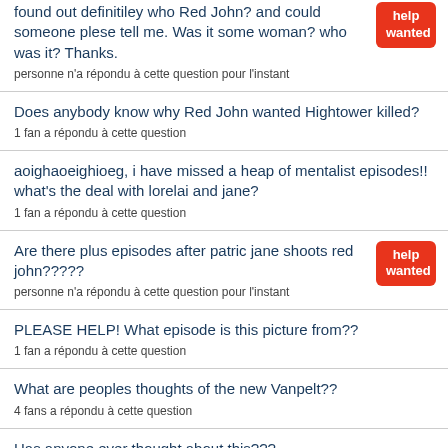found out definitiley who Red John? and could someone plese tell me. Was it some woman? who was it? Thanks.
personne n'a répondu à cette question pour l'instant
Does anybody know why Red John wanted Hightower killed?
1 fan a répondu à cette question
aoighaoeighioeg, i have missed a heap of mentalist episodes!! what's the deal with lorelai and jane?
1 fan a répondu à cette question
Are there plus episodes after patric jane shoots red john?????
personne n'a répondu à cette question pour l'instant
PLEASE HELP! What episode is this picture from??
1 fan a répondu à cette question
What are peoples thoughts of the new Vanpelt??
4 fans a répondu à cette question
Has anyone ever thought about this???...
6 fans a répondu à cette question
When and where they firt met?